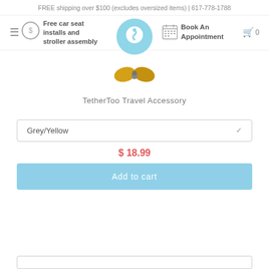FREE shipping over $100 (excludes oversized items) | 617-778-1788
Free car seat installs and stroller assembly
[Figure (logo): Tadpole circular logo in light blue]
Book An Appointment
[Figure (photo): TetherToo Travel Accessory product image - small orange/yellow butterfly shaped clip]
TetherToo Travel Accessory
Grey/Yellow
$ 18.99
Add to cart